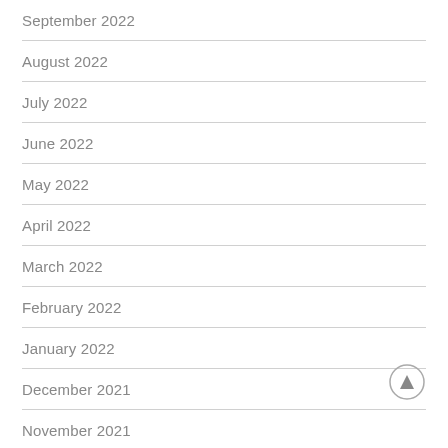September 2022
August 2022
July 2022
June 2022
May 2022
April 2022
March 2022
February 2022
January 2022
December 2021
November 2021